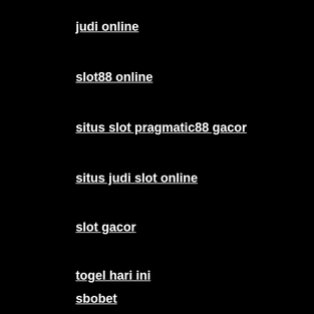judi online
slot88 online
situs slot pragmatic88 gacor
situs judi slot online
slot gacor
togel hari ini
sbobet